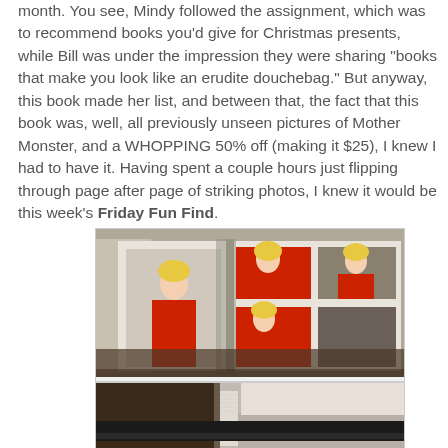month. You see, Mindy followed the assignment, which was to recommend books you'd give for Christmas presents, while Bill was under the impression they were sharing "books that make you look like an erudite douchebag." But anyway, this book made her list, and between that, the fact that this book was, well, all previously unseen pictures of Mother Monster, and a WHOPPING 50% off (making it $25), I knew I had to have it. Having spent a couple hours just flipping through page after page of striking photos, I knew it would be this week's Friday Fun Find.
[Figure (photo): Open book showing multiple photos of a blonde woman in red clothing across two pages]
[Figure (photo): Close-up of book spine and cover, partial view]